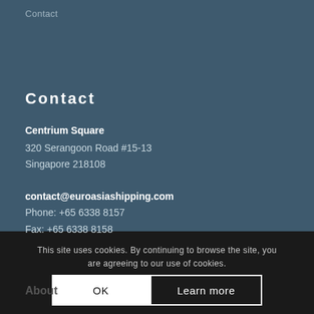Contact
Contact
Centrium Square
320 Serangoon Road #15-13
Singapore 218108

contact@euroasiashipping.com
Phone: +65 6338 8157
Fax: +65 6338 8158
This site uses cookies. By continuing to browse the site, you are agreeing to our use of cookies.
OK
Learn more
About